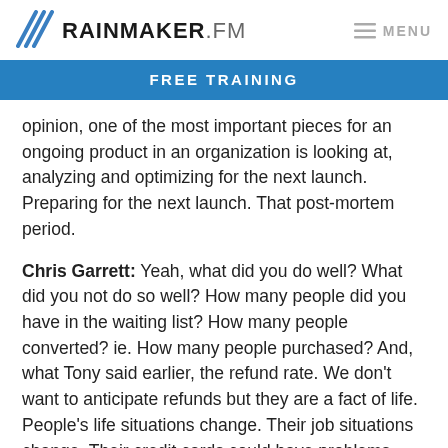RAINMAKER.FM  MENU
FREE TRAINING
opinion, one of the most important pieces for an ongoing product in an organization is looking at, analyzing and optimizing for the next launch. Preparing for the next launch. That post-mortem period.
Chris Garrett: Yeah, what did you do well? What did you not do so well? How many people did you have in the waiting list? How many people converted? ie. How many people purchased? And, what Tony said earlier, the refund rate. We don’t want to anticipate refunds but they are a fact of life. People’s life situations change. Their job situations change. Their credit cards could have problems. They might not have told their spouse that they were buying this thing.